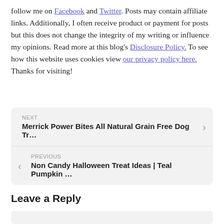follow me on Facebook and Twitter. Posts may contain affiliate links. Additionally, I often receive product or payment for posts but this does not change the integrity of my writing or influence my opinions. Read more at this blog's Disclosure Policy. To see how this website uses cookies view our privacy policy here. Thanks for visiting!
NEXT
Merrick Power Bites All Natural Grain Free Dog Tr…
PREVIOUS
Non Candy Halloween Treat Ideas | Teal Pumpkin …
Leave a Reply